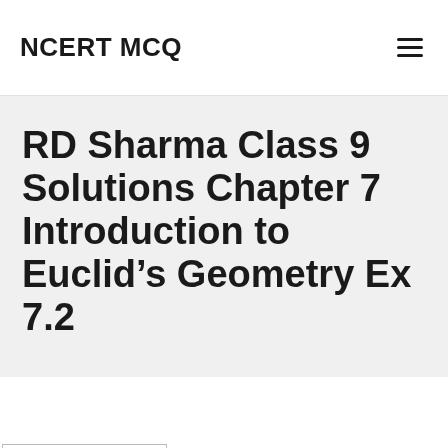NCERT MCQ
RD Sharma Class 9 Solutions Chapter 7 Introduction to Euclid’s Geometry Ex 7.2
Processing math: 100%
Class 9 Solutions